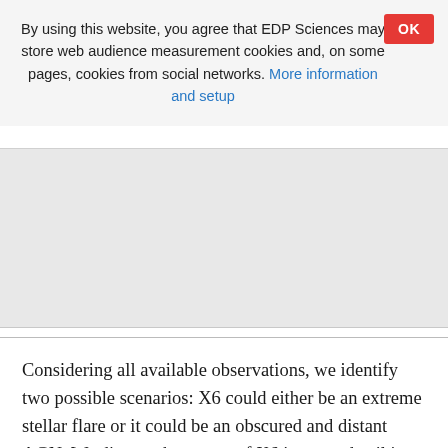By using this website, you agree that EDP Sciences may store web audience measurement cookies and, on some pages, cookies from social networks. More information and setup
OK
Considering all available observations, we identify two possible scenarios: X6 could either be an extreme stellar flare or it could be an obscured and distant AGN. We discuss the nature of X6 in more detail in Appendix A, where we come to the conclusion that it is not likely